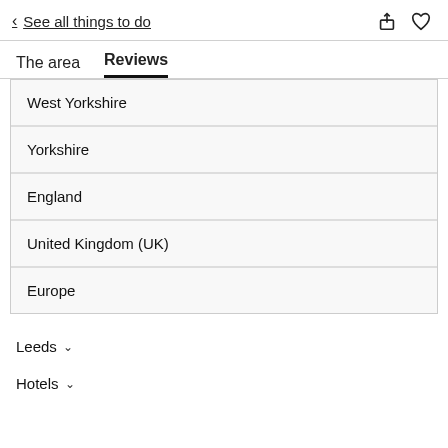< See all things to do
The area  Reviews
West Yorkshire
Yorkshire
England
United Kingdom (UK)
Europe
Leeds ∨
Hotels ∨